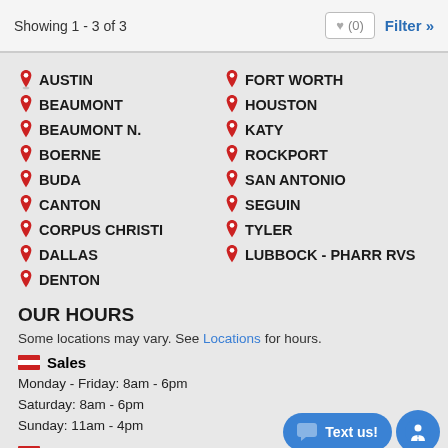Showing 1 - 3 of 3
AUSTIN
BEAUMONT
BEAUMONT N.
BOERNE
BUDA
CANTON
CORPUS CHRISTI
DALLAS
DENTON
FORT WORTH
HOUSTON
KATY
ROCKPORT
SAN ANTONIO
SEGUIN
TYLER
LUBBOCK - PHARR RVS
OUR HOURS
Some locations may vary. See Locations for hours.
Sales
Monday - Friday: 8am - 6pm
Saturday: 8am - 6pm
Sunday: 11am - 4pm
Service